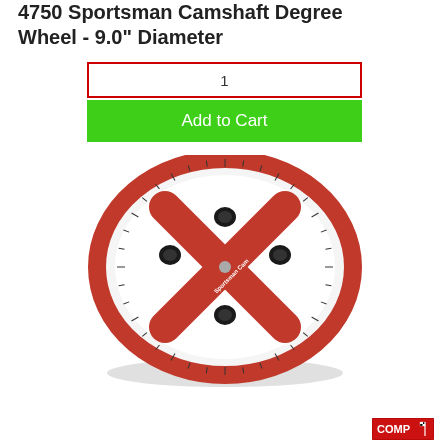4750 Sportsman Camshaft Degree Wheel - 9.0" Diameter
1
Add to Cart
[Figure (photo): Red circular camshaft degree wheel with X-shaped spokes and black mounting bolts, degree markings around the rim]
[Figure (logo): COMP Cams logo in red with checkered flag icon]